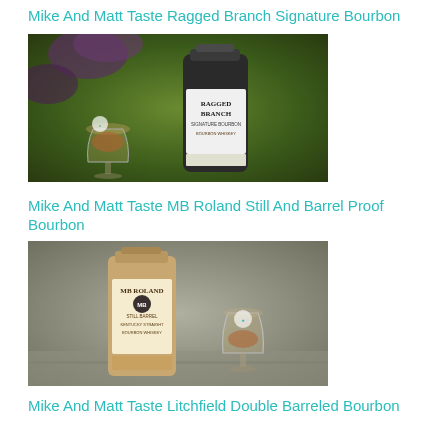Mike And Matt Taste Ragged Branch Signature Bourbon
[Figure (photo): Bottle of Ragged Branch Signature Bourbon Whiskey next to a tulip tasting glass with amber liquid, on a stone surface with green foliage background]
Mike And Matt Taste MB Roland Still And Barrel Proof Bourbon
[Figure (photo): Bottle of MB Roland Kentucky Straight Bourbon Whiskey next to a tulip tasting glass with amber liquid, on a stone surface with blurred background]
Mike And Matt Taste Litchfield Double Barreled Bourbon